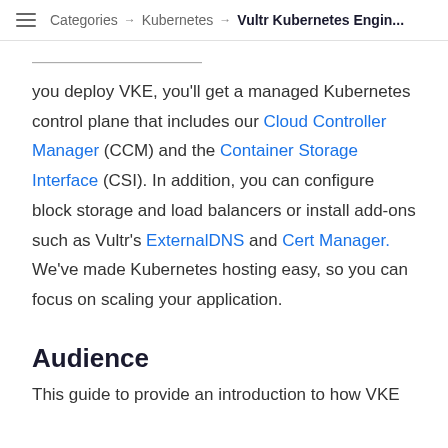≡  Categories → Kubernetes → Vultr Kubernetes Engin...
you deploy VKE, you'll get a managed Kubernetes control plane that includes our Cloud Controller Manager (CCM) and the Container Storage Interface (CSI). In addition, you can configure block storage and load balancers or install add-ons such as Vultr's ExternalDNS and Cert Manager. We've made Kubernetes hosting easy, so you can focus on scaling your application.
Audience
This guide to provide an introduction to how VKE...